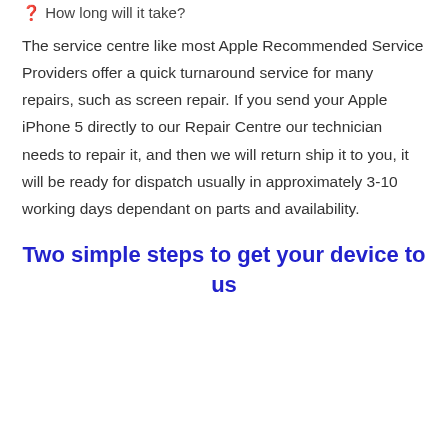❓ How long will it take?
The service centre like most Apple Recommended Service Providers offer a quick turnaround service for many repairs, such as screen repair. If you send your Apple iPhone 5 directly to our Repair Centre our technician needs to repair it, and then we will return ship it to you, it will be ready for dispatch usually in approximately 3-10 working days dependant on parts and availability.
Two simple steps to get your device to us